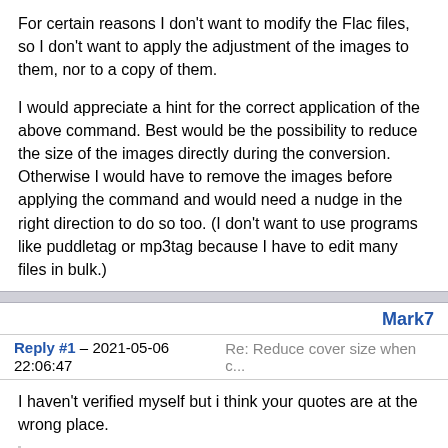For certain reasons I don't want to modify the Flac files, so I don't want to apply the adjustment of the images to them, nor to a copy of them.
I would appreciate a hint for the correct application of the above command. Best would be the possibility to reduce the size of the images directly during the conversion. Otherwise I would have to remove the images before applying the command and would need a nudge in the right direction to do so too. (I don't want to use programs like puddletag or mp3tag because I have to edit many files in bulk.)
Mark7
Reply #1 – 2021-05-06 22:06:47    Re: Reduce cover size when c...
I haven't verified myself but i think your quotes are at the wrong place.
Try these commands:
opusenc "/path1/file.opus" --picture "0||||/path1/file.jpeg"